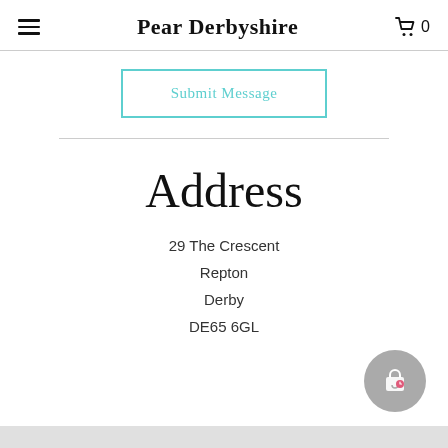Pear Derbyshire
Submit Message
Address
29 The Crescent
Repton
Derby
DE65 6GL